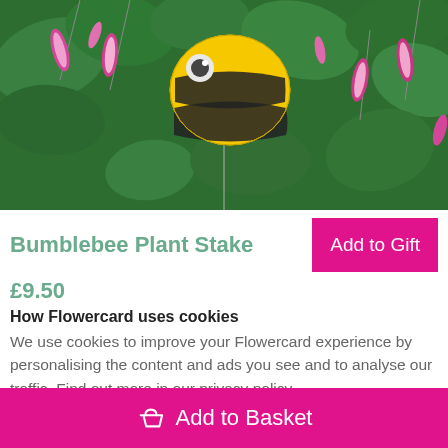[Figure (photo): A decorative bumblebee plant stake — a yellow and black striped bee on a metal spike — surrounded by pink and white fuchsia flowers and green foliage.]
Bumblebee Plant Stake
£9.50
How Flowercard uses cookies
We use cookies to improve your Flowercard experience by personalising the content and ads you see and to analyse our traffic. Find out more in our privacy policy.
Add to Basket